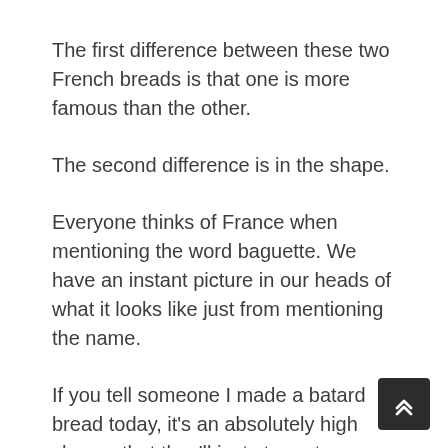The first difference between these two French breads is that one is more famous than the other.
The second difference is in the shape.
Everyone thinks of France when mentioning the word baguette. We have an instant picture in our heads of what it looks like just from mentioning the name.
If you tell someone I made a batard bread today, it's an absolutely high chance that they'll just stare at you and they'll draw the conclusion that you ate some kind of bread. There's no image that comes to mind.
Baguette means stick. It's a stick of baked dough that's absolutely delicious. The enjoyment also